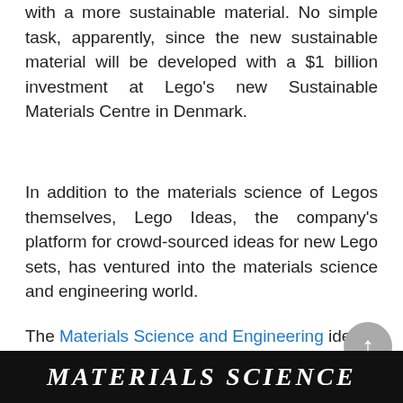with a more sustainable material. No simple task, apparently, since the new sustainable material will be developed with a $1 billion investment at Lego's new Sustainable Materials Centre in Denmark.
In addition to the materials science of Legos themselves, Lego Ideas, the company's platform for crowd-sourced ideas for new Lego sets, has ventured into the materials science and engineering world.
The Materials Science and Engineering idea—which, if it gathers enough support, could become available as a Lego set—features the equipment used to explore the nanoscale world: SEM, TEM, and XRD.
[Figure (other): Black footer banner with white italic serif text reading 'Materials Science' in uppercase]